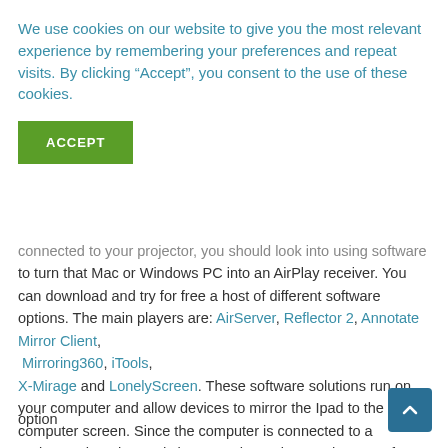We use cookies on our website to give you the most relevant experience by remembering your preferences and repeat visits. By clicking “Accept”, you consent to the use of these cookies.
ACCEPT
connected to your projector, you should look into using software to turn that Mac or Windows PC into an AirPlay receiver. You can download and try for free a host of different software options. The main players are: AirServer, Reflector 2, Annotate Mirror Client, Mirroring360, iTools, X-Mirage and LonelyScreen. These software solutions run on your computer and allow devices to mirror the Ipad to the computer screen. Since the computer is connected to a projector, then the Ipad shows on the projector. The cost of each software title is generally around $15 with LonelyScreen being the only totally option